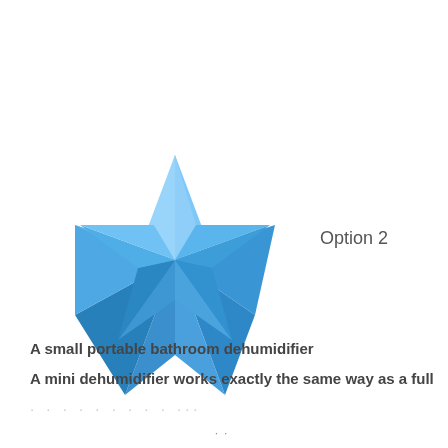[Figure (illustration): A 3D blue star icon with shading, positioned in the upper-left area of the page]
Option 2
A small portable bathroom dehumidifier
A mini dehumidifier works exactly the same way as a full
...